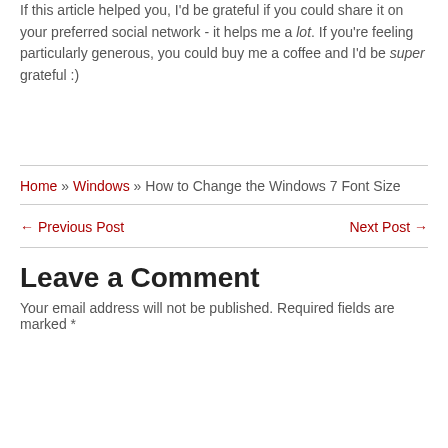If this article helped you, I'd be grateful if you could share it on your preferred social network - it helps me a lot. If you're feeling particularly generous, you could buy me a coffee and I'd be super grateful :)
Home » Windows » How to Change the Windows 7 Font Size
← Previous Post    Next Post →
Leave a Comment
Your email address will not be published. Required fields are marked *